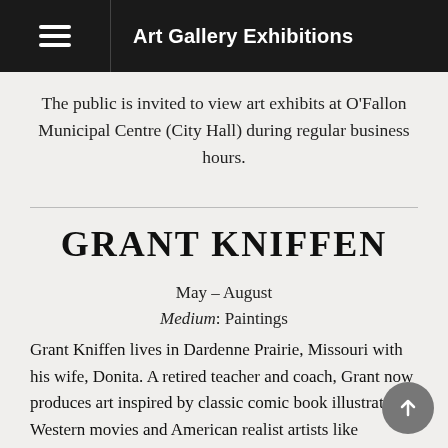Art Gallery Exhibitions
The public is invited to view art exhibits at O'Fallon Municipal Centre (City Hall) during regular business hours.
GRANT KNIFFEN
May – August
Medium: Paintings
Grant Kniffen lives in Dardenne Prairie, Missouri with his wife, Donita. A retired teacher and coach, Grant now produces art inspired by classic comic book illustrators, Western movies and American realist artists like Missouri's Thomas Hart Benton. Using nature and observation as a base, his work explores landscapes, regional farm life and other slices of Americana.